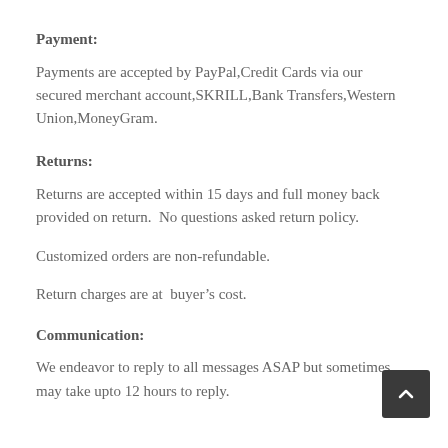Payment:
Payments are accepted by PayPal,Credit Cards via our secured merchant account,SKRILL,Bank Transfers,Western Union,MoneyGram.
Returns:
Returns are accepted within 15 days and full money back provided on return.  No questions asked return policy.
Customized orders are non-refundable.
Return charges are at  buyer’s cost.
Communication:
We endeavor to reply to all messages ASAP but sometimes may take upto 12 hours to reply.